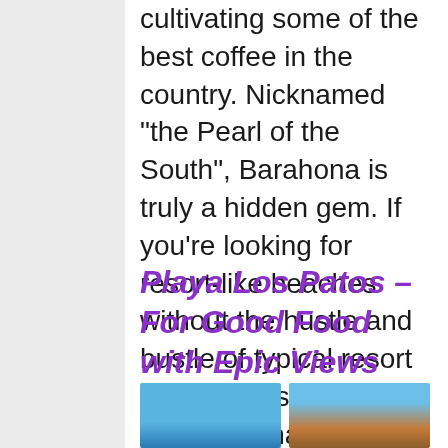cultivating some of the best coffee in the country. Nicknamed "the Pearl of the South", Barahona is truly a hidden gem. If you're looking for resort-like beaches without the hustle and bustle of typical resort destinations, then Barahona has the perfect turquoise waters for you:
Playa Los Patos – For Good Food with Epic Views
[Figure (photo): Two partial photos side by side at the bottom of the page — left appears to be a beach/ocean scene with blue sky, right appears to be a coastal or architectural scene.]